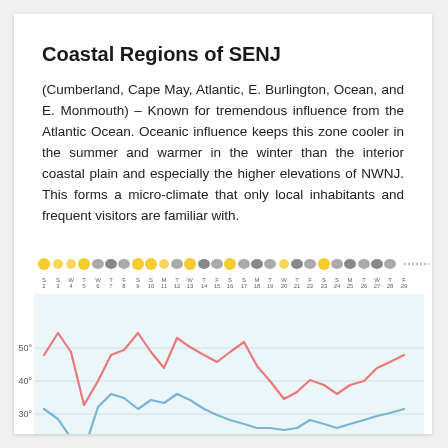Coastal Regions of SENJ
(Cumberland, Cape May, Atlantic, E. Burlington, Ocean, and E. Monmouth) – Known for tremendous influence from the Atlantic Ocean. Oceanic influence keeps this zone cooler in the summer and warmer in the winter than the interior coastal plain and especially the higher elevations of NWNJ. This forms a micro-climate that only local inhabitants and frequent visitors are familiar with.
[Figure (line-chart): Two-line chart showing high temperatures (red line, ~40-48°F range) and low temperatures (blue line, ~15-30°F range) over approximately 29 days, with weather icons along the top.]